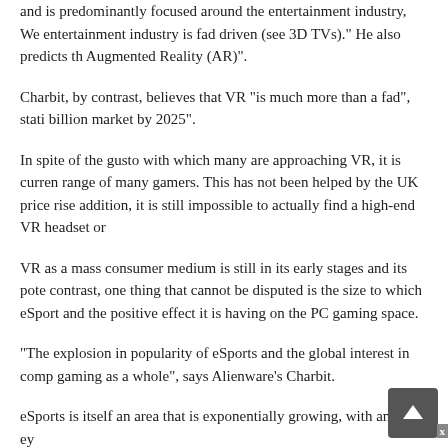and is predominantly focused around the entertainment industry, We entertainment industry is fad driven (see 3D TVs)." He also predicts th Augmented Reality (AR)".
Charbit, by contrast, believes that VR "is much more than a fad", stati billion market by 2025".
In spite of the gusto with which many are approaching VR, it is curren range of many gamers. This has not been helped by the UK price rise addition, it is still impossible to actually find a high-end VR headset or
VR as a mass consumer medium is still in its early stages and its pote contrast, one thing that cannot be disputed is the size to which eSport and the positive effect it is having on the PC gaming space.
"The explosion in popularity of eSports and the global interest in comp gaming as a whole", says Alienware's Charbit.
eSports is itself an area that is exponentially growing, with analysts ey